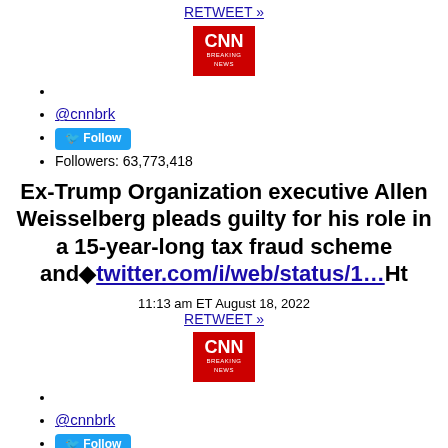RETWEET »
[Figure (logo): CNN Breaking News logo - red square with CNN text and BREAKING NEWS below]
@cnnbrk
Follow
Followers: 63,773,418
Ex-Trump Organization executive Allen Weisselberg pleads guilty for his role in a 15-year-long tax fraud scheme and◆twitter.com/i/web/status/1…Ht
11:13 am ET August 18, 2022
RETWEET »
[Figure (logo): CNN Breaking News logo - red square with CNN text and BREAKING NEWS below]
@cnnbrk
Follow